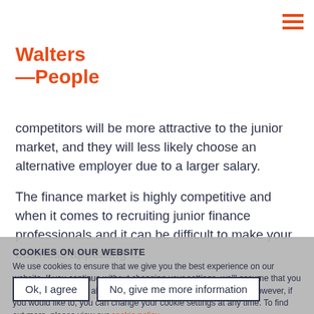[Figure (logo): Walters People logo in orange/red]
competitors will be more attractive to the junior market, and they will less likely choose an alternative employer due to a larger salary.
The finance market is highly competitive and when it comes to recruiting junior finance professionals and it can be difficult to make your business appealing to
COOKIES ON OUR WEBSITE
We use cookies to ensure that we give you the best experience on our website. If you continue without changing your settings, we'll assume that you are happy to receive all cookies on the Walters People website. However, if you would like to, you can change your cookie settings at any time. To find out more, please view our cookie policy